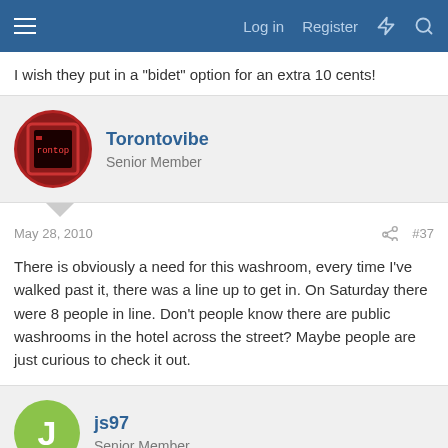Log in  Register
I wish they put in a "bidet" option for an extra 10 cents!
Torontovibe
Senior Member
May 28, 2010  #37
There is obviously a need for this washroom, every time I've walked past it, there was a line up to get in. On Saturday there were 8 people in line. Don't people know there are public washrooms in the hotel across the street? Maybe people are just curious to check it out.
js97
Senior Member